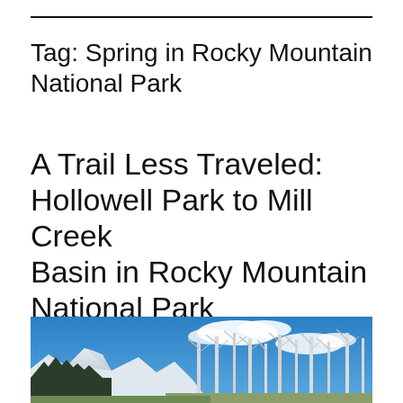Tag: Spring in Rocky Mountain National Park
A Trail Less Traveled: Hollowell Park to Mill Creek Basin in Rocky Mountain National Park
[Figure (photo): Outdoor nature photo showing bare aspen trees with white bark against a bright blue sky with white clouds, with dark conifer forest on the lower left and snow-capped mountains in the background.]